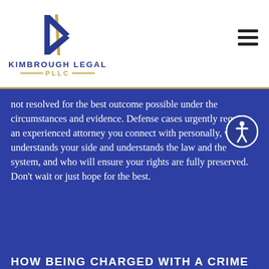[Figure (logo): Kimbrough Legal PLLC logo with stylized gold and blue K lettermark and firm name]
not resolved for the best outcome possible under the circumstances and evidence. Defense cases urgently require an experienced attorney you connect with personally, who understands your side and understands the law and the system, and who will ensure your rights are fully preserved. Don't wait or just hope for the best.
HOW BEING CHARGED WITH A CRIME